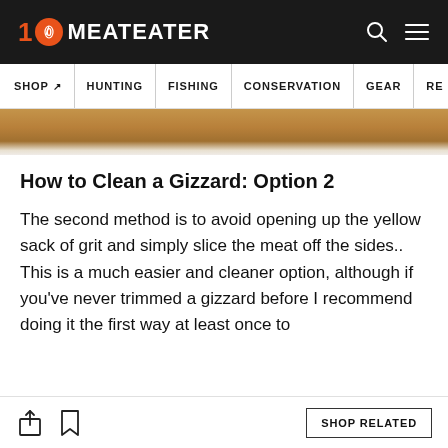10 MEATEATER
SHOP | HUNTING | FISHING | CONSERVATION | GEAR | RE
[Figure (photo): Close-up photo of a wooden cutting board surface, partially visible as a horizontal strip.]
How to Clean a Gizzard: Option 2
The second method is to avoid opening up the yellow sack of grit and simply slice the meat off the sides.. This is a much easier and cleaner option, although if you've never trimmed a gizzard before I recommend doing it the first way at least once to
SHOP RELATED